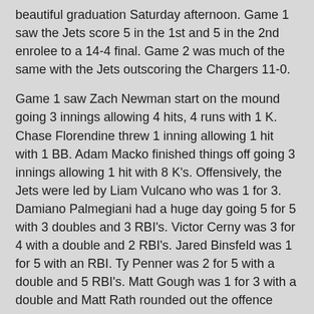beautiful graduation Saturday afternoon.  Game  1 saw the Jets score 5 in the 1st and 5 in the 2nd enrolee to a 14-4 final.  Game 2 was much of the same with the Jets outscoring the Chargers 11-0.
Game 1 saw Zach Newman start on the mound going 3 innings allowing 4 hits, 4 runs with 1 K.  Chase Florendine threw 1 inning allowing 1 hit with 1 BB.  Adam Macko finished things off going 3 innings allowing 1 hit with 8 K's.  Offensively, the Jets were led by Liam Vulcano who was 1 for 3.  Damiano Palmegiani had a huge day going 5 for 5 with 3 doubles and 3 RBI's.  Victor Cerny was 3 for 4 with a double and 2 RBI's.  Jared Binsfeld was 1 for 5 with an RBI.  Ty Penner was 2 for 5 with a double and 5 RBI's.  Matt Gough was 1 for 3 with a double and Matt Rath rounded out the offence going 2 for 4 with an RBI.
Game 2 saw Conner Green started on the mound going 2 innings allowing 0 hits with 2 BB's and 1 K.  Jaden Griffen